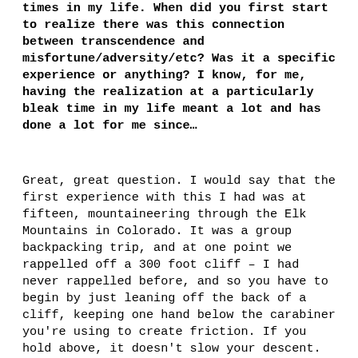times in my life. When did you first start to realize there was this connection between transcendence and misfortune/adversity/etc? Was it a specific experience or anything? I know, for me, having the realization at a particularly bleak time in my life meant a lot and has done a lot for me since...
Great, great question. I would say that the first experience with this I had was at fifteen, mountaineering through the Elk Mountains in Colorado. It was a group backpacking trip, and at one point we rappelled off a 300 foot cliff – I had never rappelled before, and so you have to begin by just leaning off the back of a cliff, keeping one hand below the carabiner you're using to create friction. If you hold above, it doesn't slow your descent. Anyway, so I lean off the cliff, and start jumping down, descending, and all of a sudden I just forget what I'm doing, and let go with my hand below the carabiner. At that